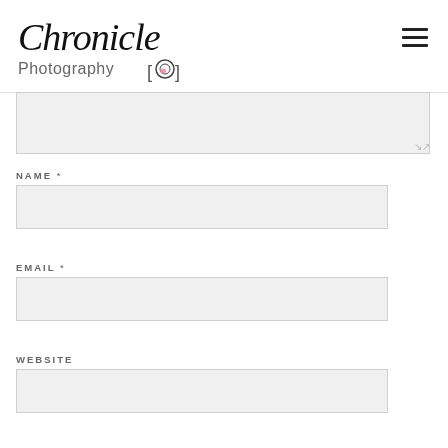[Figure (logo): Chronicle Photography logo with cursive 'Chronicle' text and 'Photography' below with camera aperture icon]
NAME *
EMAIL *
WEBSITE
SAVE MY NAME, EMAIL, AND WEBSITE IN THIS BROWSER